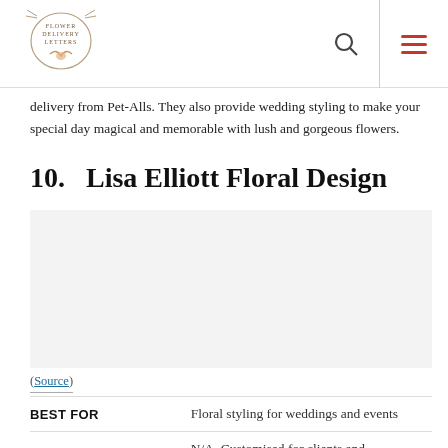Flower Delivery Letters [logo] [search icon] [menu icon]
delivery from Pet-Alls. They also provide wedding styling to make your special day magical and memorable with lush and gorgeous flowers.
10.   Lisa Elliott Floral Design
[Figure (photo): Image placeholder for Lisa Elliott Floral Design]
(Source)
| BEST FOR | Floral styling for weddings and events |
|  | N/A. Customised for clients and |